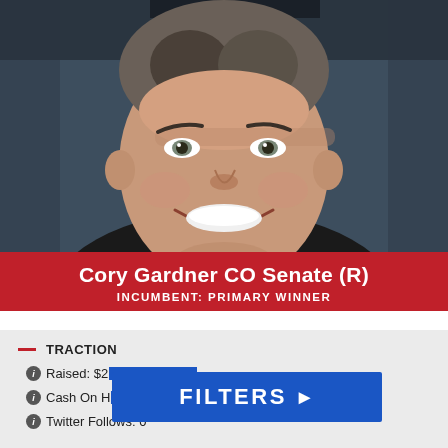[Figure (photo): Headshot portrait of Cory Gardner, middle-aged man with gray-brown hair, smiling broadly, wearing dark suit and white shirt, against dark blue-gray background]
Cory Gardner CO Senate (R)
INCUMBENT: PRIMARY WINNER
TRACTION
Raised: $23,xxx,xxx
Cash On Hand: (obscured)
Twitter Follows: 0
FILTERS ▶